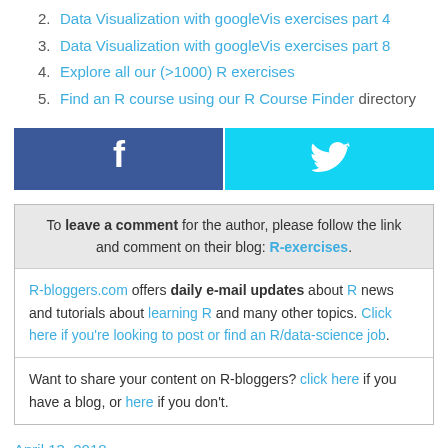2. Data Visualization with googleVis exercises part 4
3. Data Visualization with googleVis exercises part 8
4. Explore all our (>1000) R exercises
5. Find an R course using our R Course Finder directory
[Figure (infographic): Facebook and Twitter share buttons side by side]
To leave a comment for the author, please follow the link and comment on their blog: R-exercises.
R-bloggers.com offers daily e-mail updates about R news and tutorials about learning R and many other topics. Click here if you're looking to post or find an R/data-science job.
Want to share your content on R-bloggers? click here if you have a blog, or here if you don't.
April 13, 2018